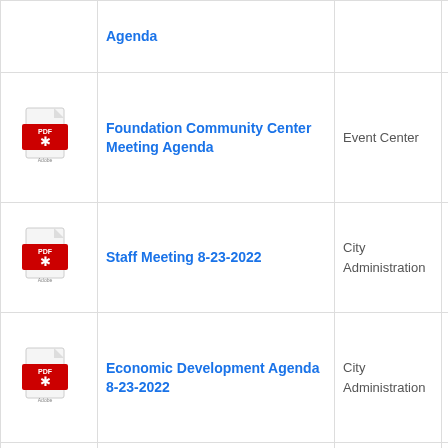| Icon | Title | Location | Date |
| --- | --- | --- | --- |
| [pdf] | Agenda |  |  |
| [pdf] | Foundation Community Center Meeting Agenda | Event Center | August 24th, 2 |
| [pdf] | Staff Meeting 8-23-2022 | City Administration | August 23rd, 2 |
| [pdf] | Economic Development Agenda 8-23-2022 | City Administration | August 23rd, 2 |
| [pdf] | Crime Control District Agenda 8-23-2022 | City Administration | August 23rd, 2 |